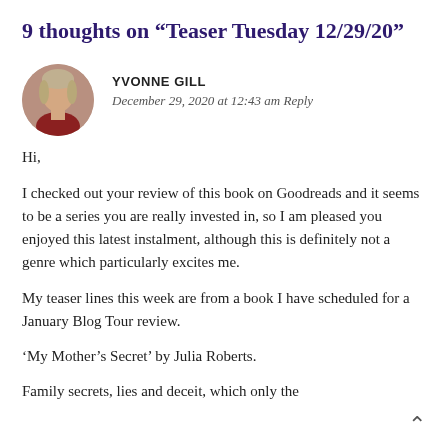9 thoughts on “Teaser Tuesday 12/29/20”
YVONNE GILL
December 29, 2020 at 12:43 am Reply
Hi,

I checked out your review of this book on Goodreads and it seems to be a series you are really invested in, so I am pleased you enjoyed this latest instalment, although this is definitely not a genre which particularly excites me.

My teaser lines this week are from a book I have scheduled for a January Blog Tour review.

‘My Mother’s Secret’ by Julia Roberts.

Family secrets, lies and deceit, which only the